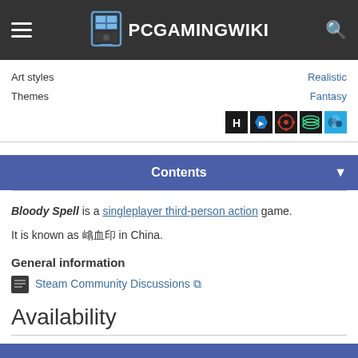PCGamingWiki
Art styles
Themes
Realistic
Fantasy
Contents
Bloody Spell is a singleplayer third-person action game.
It is known as 嗜血印 in China.
General information
Steam Community Discussions
Availability